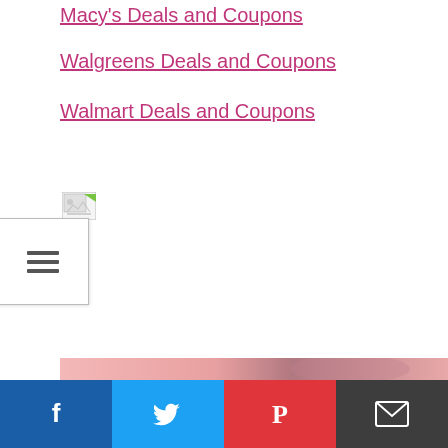Macy's Deals and Coupons
Walgreens Deals and Coupons
Walmart Deals and Coupons
[Figure (screenshot): Broken image icon placeholder with green corner folded page icon]
[Figure (screenshot): Hamburger menu widget (three horizontal lines) in a white box with border]
[Figure (screenshot): Pink/rose gradient banner strip partially visible at bottom]
[Figure (screenshot): Social sharing bar with four buttons: Facebook (blue, f icon), Twitter (light blue, bird icon), Pinterest (red, P icon), Email (dark gray, envelope icon)]